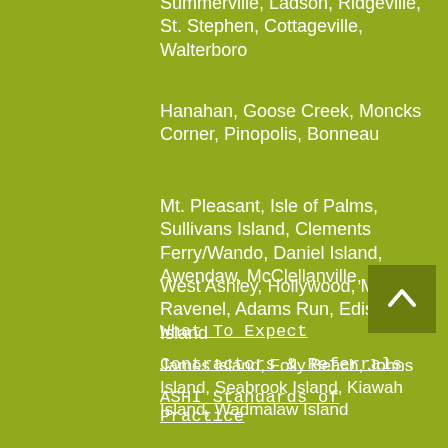Summerville, Ladson, Ridgeville, St. Stephen, Cottageville, Walterboro
Hanahan, Goose Creek, Moncks Corner, Pinopolis, Bonneau
Mt. Pleasant, Isle of Palms, Sullivans Island, Clements Ferry/Wando, Daniel Island, Awendaw, McClellanville, Huger
West Ashley, Hollywood, Meggett Ravenel, Adams Run, Edisto Island
James Island, Folly Beach, Johns Island, Seabrook Island, Kiawah Island, Wadmalaw Island
What To Expect
Contractors & Referrals
ASHI Standards of Practice